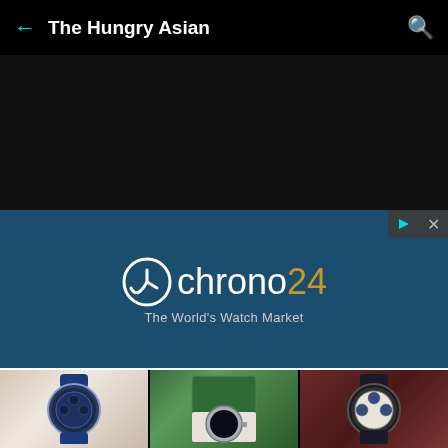← The Hungry Asian 🔍
[Figure (screenshot): Chrono24 advertisement banner with logo and tagline 'The World's Watch Market' on dark teal background]
[Figure (photo): Grid of three luxury watch photos: blue-strapped Omega aqua terra, Rolex Submariner in green box, Omega Speedmaster chronograph]